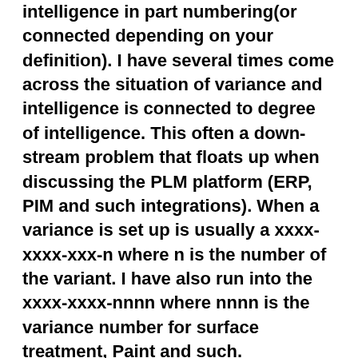intelligence in part numbering(or connected depending on your definition). I have several times come across the situation of variance and intelligence is connected to degree of intelligence. This often a down-stream problem that floats up when discussing the PLM platform (ERP, PIM and such integrations). When a variance is set up is usually a xxxx-xxxx-xxx-n where n is the number of the variant. I have also run into the xxxx-xxxx-nnnn where nnnn is the variance number for surface treatment, Paint and such.
Usually this behavior has been untouched by the PLM-no-number-intelligence part of the project since it is not handled as the part